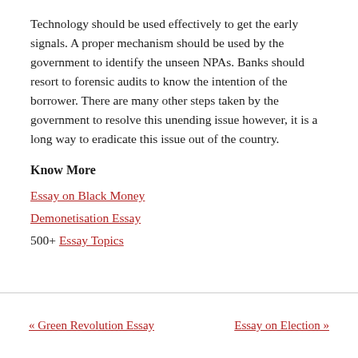Technology should be used effectively to get the early signals. A proper mechanism should be used by the government to identify the unseen NPAs. Banks should resort to forensic audits to know the intention of the borrower. There are many other steps taken by the government to resolve this unending issue however, it is a long way to eradicate this issue out of the country.
Know More
Essay on Black Money
Demonetisation Essay
500+ Essay Topics
« Green Revolution Essay   Essay on Election »